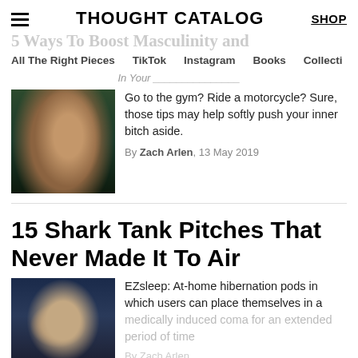THOUGHT CATALOG | SHOP
5 Ways To Boost Masculinity and In Your…
All The Right Pieces   TikTok   Instagram   Books   Collecti
[Figure (photo): Man with face paint and armor (Thor-like character)]
Go to the gym? Ride a motorcycle? Sure, those tips may help softly push your inner bitch aside.
By Zach Arlen, 13 May 2019
15 Shark Tank Pitches That Never Made It To Air
[Figure (photo): Man doing a facepalm gesture against dark background]
EZsleep: At-home hibernation pods in which users can place themselves in a medically induced coma for an extended period of time
By Zach Arlen